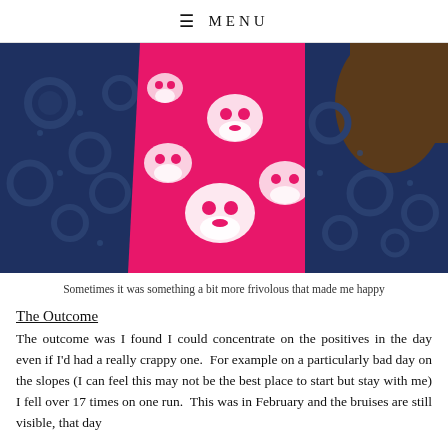≡ MENU
[Figure (photo): Close-up photo of a person wearing a bright pink scarf/shawl with white skull patterns and a dark navy blue lace jacket/top. The person's brown hair is visible on the right side.]
Sometimes it was something a bit more frivolous that made me happy
The Outcome
The outcome was I found I could concentrate on the positives in the day even if I'd had a really crappy one.  For example on a particularly bad day on the slopes (I can feel this may not be the best place to start but stay with me) I fell over 17 times on one run.  This was in February and the bruises are still visible, that day